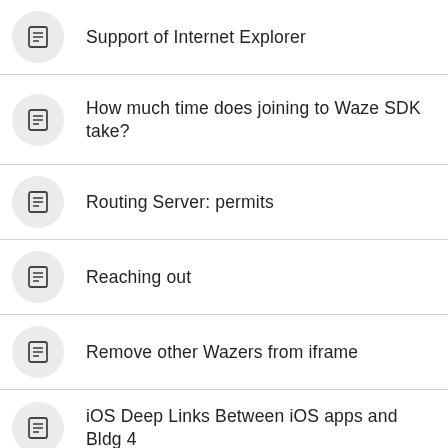Support of Internet Explorer
How much time does joining to Waze SDK take?
Routing Server: permits
Reaching out
Remove other Wazers from iframe
iOS Deep Links Between iOS apps and Bldg 4